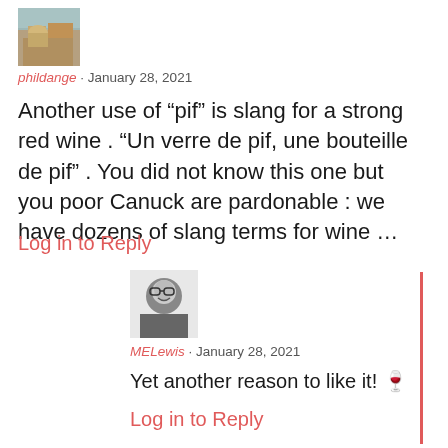[Figure (photo): Small avatar photo of a person near pyramids/sphinx, brown tones]
phildange · January 28, 2021
Another use of “pif” is slang for a strong red wine . “Un verre de pif, une bouteille de pif” . You did not know this one but you poor Canuck are pardonable : we have dozens of slang terms for wine ...
Log in to Reply
[Figure (photo): Small black and white avatar photo of a person with glasses, smiling]
MELewis · January 28, 2021
Yet another reason to like it! 🍷
Log in to Reply